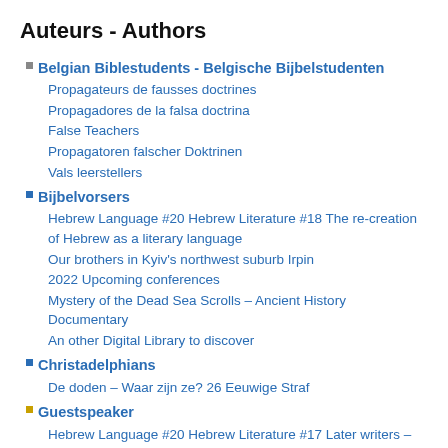Auteurs - Authors
Belgian Biblestudents - Belgische Bijbelstudenten
Propagateurs de fausses doctrines
Propagadores de la falsa doctrina
False Teachers
Propagatoren falscher Doktrinen
Vals leerstellers
Bijbelvorsers
Hebrew Language #20 Hebrew Literature #18 The re-creation of Hebrew as a literary language
Our brothers in Kyiv's northwest suburb Irpin
2022 Upcoming conferences
Mystery of the Dead Sea Scrolls – Ancient History Documentary
An other Digital Library to discover
Christadelphians
De doden – Waar zijn ze? 26 Eeuwige Straf
Guestspeaker
Hebrew Language #20 Hebrew Literature #17 Later writers – From